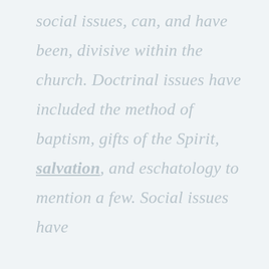social issues, can, and have been, divisive within the church. Doctrinal issues have included the method of baptism, gifts of the Spirit, salvation, and eschatology to mention a few. Social issues have